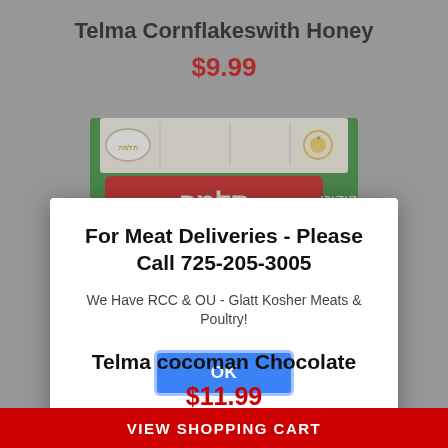Telma Cornflakeswith Honey
$9.99
[Figure (photo): Green box of Telma cornflakes with honey product, showing Hebrew text and product imagery]
For Meat Deliveries - Please Call 725-205-3005
We Have RCC & OU - Glatt Kosher Meats & Poultry!
OK
Telma cocoman Chocolate
$11.99
[Figure (photo): Partial view of Telma cocoman Chocolate product box at bottom of page]
VIEW SHOPPING CART